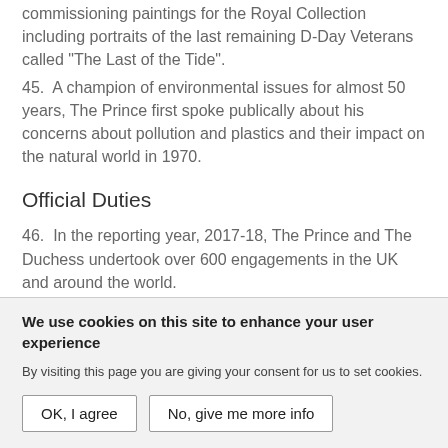commissioning paintings for the Royal Collection including portraits of the last remaining D-Day Veterans called "The Last of the Tide".
45.  A champion of environmental issues for almost 50 years, The Prince first spoke publically about his concerns about pollution and plastics and their impact on the natural world in 1970.
Official Duties
46.  In the reporting year, 2017-18, The Prince and The Duchess undertook over 600 engagements in the UK and around the world.
We use cookies on this site to enhance your user experience
By visiting this page you are giving your consent for us to set cookies.
OK, I agree
No, give me more info